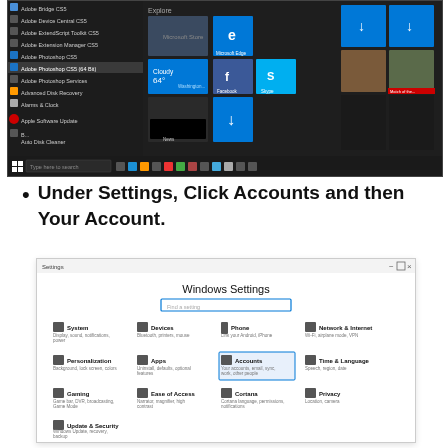[Figure (screenshot): Windows 10 Start Menu screenshot showing app list on the left and live tiles on the right, with taskbar at the bottom showing search bar and system icons]
Under Settings, Click Accounts and then Your Account.
[Figure (screenshot): Windows Settings page showing Windows Settings title, search box, and a grid of setting categories: System, Devices, Phone, Network & Internet, Personalization, Apps, Accounts (highlighted), Time & Language, Gaming, Ease of Access, Cortana, Privacy, Update & Security]